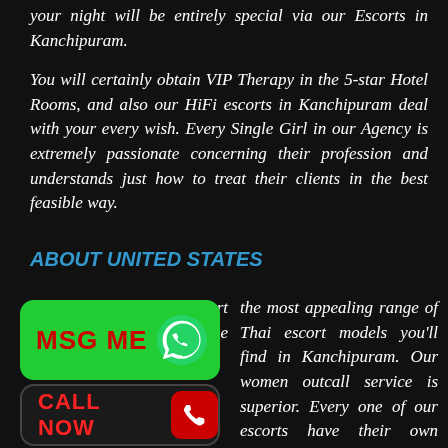your night will be entirely special via our Escorts in Kanchipuram.
You will certainly obtain VIP Therapy in the 5-star Hotel Rooms, and also our HiFi escorts in Kanchipuram deal with your every wish. Every Single Girl in our Agency is extremely passionate concerning their profession and understands just how to treat their clients in the best feasible way.
ABOUT UNITED STATES
We're a Kanchipuram escort company that represents one of the most appealing range of Thai escort models you'll find in Kanchipuram. Our women outcall service is superior. Every one of our escorts have their own distinct style, classy
[Figure (other): Green MSG ME button with WhatsApp icon]
[Figure (other): Black CALL NOW button with red phone icon]